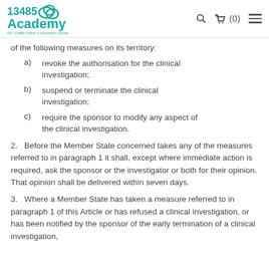13485 Academy | ISO 13485 Online Consultation Center
of the following measures on its territory:
a)  revoke the authorisation for the clinical investigation;
b)  suspend or terminate the clinical investigation;
c)  require the sponsor to modify any aspect of the clinical investigation.
2.   Before the Member State concerned takes any of the measures referred to in paragraph 1 it shall, except where immediate action is required, ask the sponsor or the investigator or both for their opinion. That opinion shall be delivered within seven days.
3.   Where a Member State has taken a measure referred to in paragraph 1 of this Article or has refused a clinical investigation, or has been notified by the sponsor of the early termination of a clinical investigation,